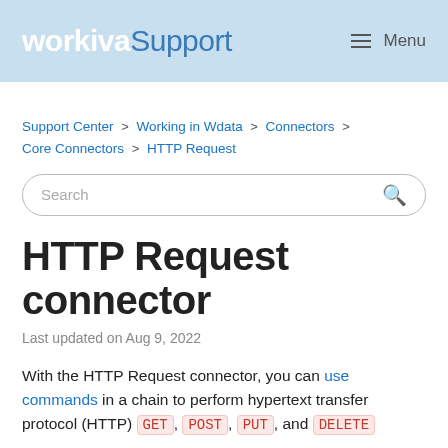workiva Support   Menu
Support Center > Working in Wdata > Connectors > Core Connectors > HTTP Request
HTTP Request connector
Last updated on Aug 9, 2022
With the HTTP Request connector, you can use commands in a chain to perform hypertext transfer protocol (HTTP) GET, POST, PUT, and DELETE